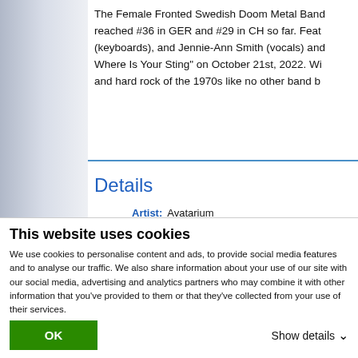The Female Fronted Swedish Doom Metal Band reached #36 in GER and #29 in CH so far. Featuring (keyboards), and Jennie-Ann Smith (vocals) and Where Is Your Sting" on October 21st, 2022. Wi and hard rock of the 1970s like no other band be
Details
| Label | Value |
| --- | --- |
| Artist: | Avatarium |
| Title: | Death, Where Is Your Sting |
| Genre: | Heavy Metal |
| Attributes: | Colored Vinyl, Clear Vinyl, L |
| Release Date: | 10/21/2022 |
This website uses cookies
We use cookies to personalise content and ads, to provide social media features and to analyse our traffic. We also share information about your use of our site with our social media, advertising and analytics partners who may combine it with other information that you've provided to them or that they've collected from your use of their services.
OK   Show details ▾